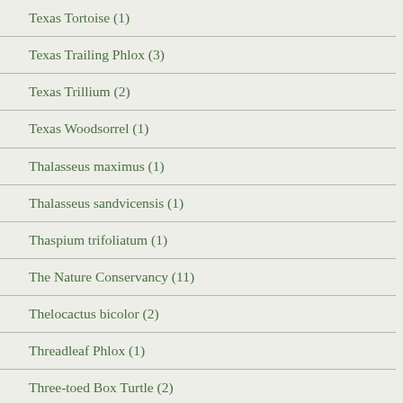Texas Tortoise (1)
Texas Trailing Phlox (3)
Texas Trillium (2)
Texas Woodsorrel (1)
Thalasseus maximus (1)
Thalasseus sandvicensis (1)
Thaspium trifoliatum (1)
The Nature Conservancy (11)
Thelocactus bicolor (2)
Threadleaf Phlox (1)
Three-toed Box Turtle (2)
Thryothorus ludovicianus (1)
Tiger Beetles (3)
Tillandsia baileyi (1)
Tinantia anomala (1)